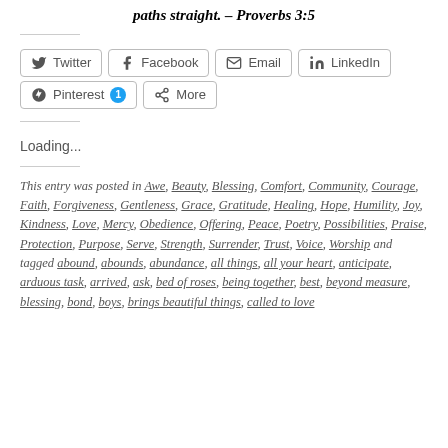paths straight. – Proverbs 3:5
[Figure (infographic): Social share buttons: Twitter, Facebook, Email, LinkedIn, Pinterest (with badge 1), More]
Loading...
This entry was posted in Awe, Beauty, Blessing, Comfort, Community, Courage, Faith, Forgiveness, Gentleness, Grace, Gratitude, Healing, Hope, Humility, Joy, Kindness, Love, Mercy, Obedience, Offering, Peace, Poetry, Possibilities, Praise, Protection, Purpose, Serve, Strength, Surrender, Trust, Voice, Worship and tagged abound, abounds, abundance, all things, all your heart, anticipate, arduous task, arrived, ask, bed of roses, being together, best, beyond measure, blessing, bond, boys, brings beautiful things, called to love